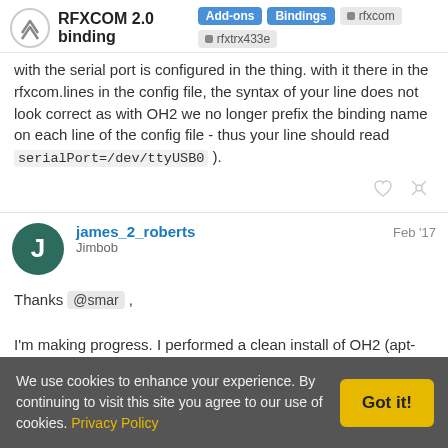RFXCOM 2.0 binding | Add-ons | Bindings | rfxcom | rfxtrx433e
with the serial port is configured in the thing. with it there in the rfxcom.lines in the config file, the syntax of your line does not look correct as with OH2 we no longer prefix the binding name on each line of the config file - thus your line should read serialPort=/dev/ttyUSB0 ).
james_2_roberts Jimbob Feb '17
Thanks @smar ,

I'm making progress. I performed a clean install of OH2 (apt-get purge, followed by install), this time I started with an empty list of bindings and just installed the rfxcom binding, along with the rfxcom.cfg file.
We use cookies to enhance your experience. By continuing to visit this site you agree to our use of cookies. Privacy Policy